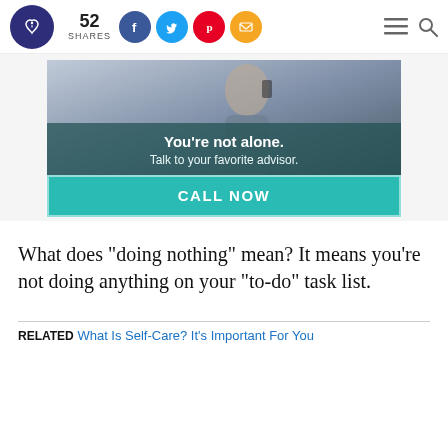52 SHARES [social icons: Facebook, Twitter, Pinterest, Email] [menu] [search]
[Figure (photo): Advertisement banner showing a smiling woman talking on a phone, with teal overlay text 'You're not alone. Talk to your favorite advisor.' and a CALL NOW button below]
What does "doing nothing" mean? It means you're not doing anything on your "to-do" task list.
RELATED